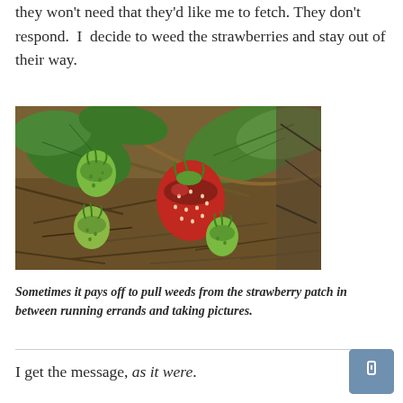they won't need that they'd like me to fetch. They don't respond.  I  decide to weed the strawberries and stay out of their way.
[Figure (photo): Close-up photograph of strawberry plant showing one ripe red strawberry and several unripe green strawberries among green leaves, on a mulched ground.]
Sometimes it pays off to pull weeds from the strawberry patch in between running errands and taking pictures.
I get the message, as it were.